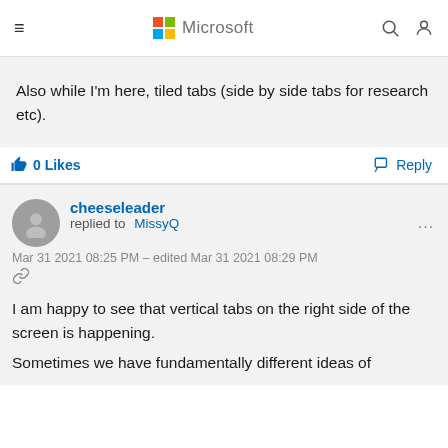Microsoft
Also while I'm here, tiled tabs (side by side tabs for research etc).
0 Likes   Reply
cheeseleader replied to MissyQ
Mar 31 2021 08:25 PM - edited Mar 31 2021 08:29 PM
I am happy to see that vertical tabs on the right side of the screen is happening.
Sometimes we have fundamentally different ideas of